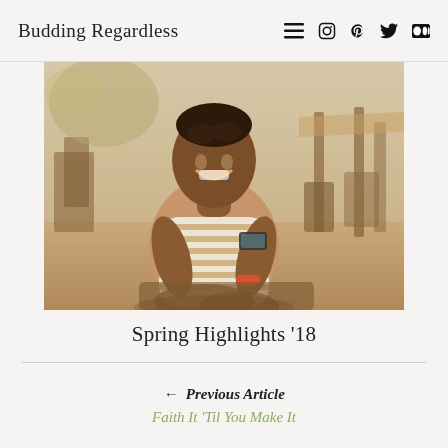Budding Regardless
[Figure (photo): A smiling Black woman in a white and tan striped shirt sitting outdoors at a sandy beach bar/restaurant with wooden furniture and bamboo structures in the background, holding a mobile phone.]
Spring Highlights ’18
← Previous Article
Faith It ’Til You Make It